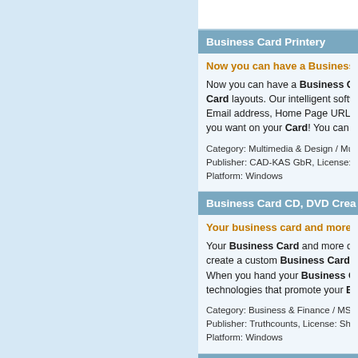Business Card Printery
Now you can have a Business Card...
Now you can have a Business Card layouts. Our intelligent software Email address, Home Page URL, an you want on your Card! You can call
Category: Multimedia & Design / Multim
Publisher: CAD-KAS GbR, License: Den
Platform: Windows
Business Card CD, DVD Crea
Your business card and more on a
Your Business Card and more on a create a custom Business Card or f When you hand your Business Card technologies that promote your Busi
Category: Business & Finance / MS Offi
Publisher: Truthcounts, License: Sharew
Platform: Windows
FreedomCardz
FreedomCardz is a simple gift ca